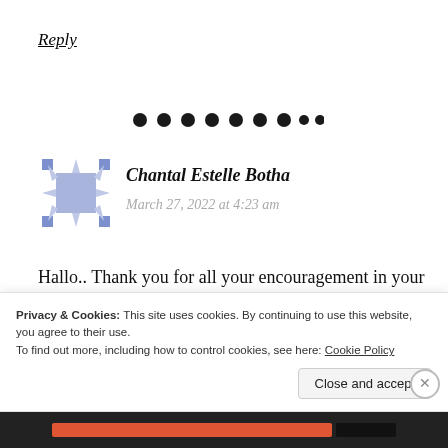Reply
[Figure (other): Decorative dot divider line]
[Figure (illustration): User avatar - geometric pattern with blue/purple square and corner stars]
Chantal Estelle Botha
March 27, 2022 at 4:23 am
Hallo.. Thank you for all your encouragement in your emails.. Wow may God bless you abundantly 🙏🙌🌿
Privacy & Cookies: This site uses cookies. By continuing to use this website, you agree to their use.
To find out more, including how to control cookies, see here: Cookie Policy
Close and accept